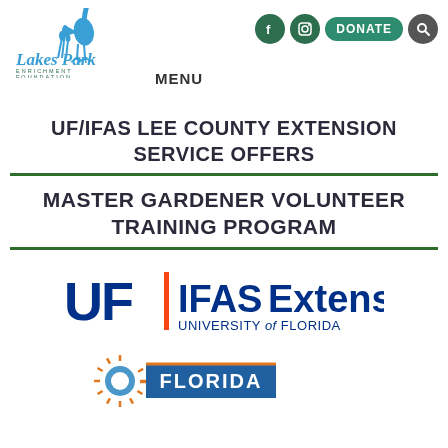[Figure (logo): Lakes Park Enrichment Foundation logo with blue heron bird and cursive text]
MENU
[Figure (logo): Social media icons: Facebook, Instagram, DONATE button, and search icon]
UF/IFAS LEE COUNTY EXTENSION SERVICE OFFERS
MASTER GARDENER VOLUNTEER TRAINING PROGRAM
[Figure (logo): UF | IFAS Extension University of Florida logo in blue and orange]
[Figure (logo): Florida logo with sunburst graphic]